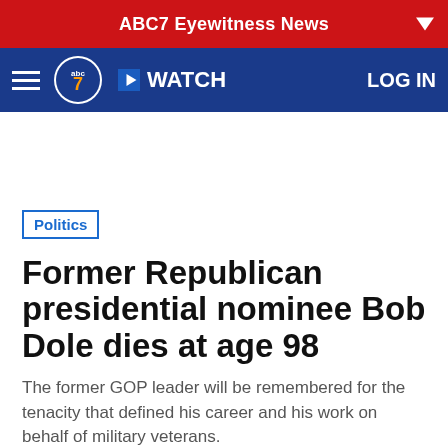ABC7 Eyewitness News
[Figure (logo): ABC7 Eyewitness News navigation bar with hamburger menu, abc7 logo, WATCH button, and LOG IN link]
Politics
Former Republican presidential nominee Bob Dole dies at age 98
The former GOP leader will be remembered for the tenacity that defined his career and his work on behalf of military veterans.